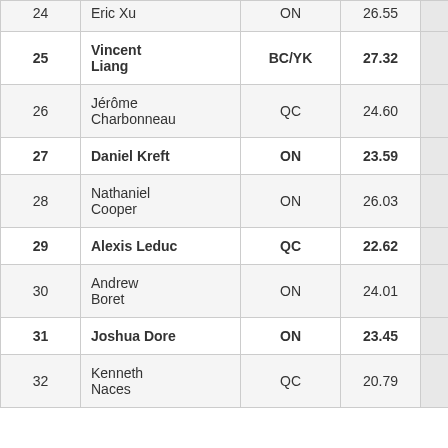| # | Name | Region | Score |  |
| --- | --- | --- | --- | --- |
| 24 | Eric Xu | ON | 26.55 |  |
| 25 | Vincent Liang | BC/YK | 27.32 |  |
| 26 | Jérôme Charbonneau | QC | 24.60 |  |
| 27 | Daniel Kreft | ON | 23.59 |  |
| 28 | Nathaniel Cooper | ON | 26.03 |  |
| 29 | Alexis Leduc | QC | 22.62 |  |
| 30 | Andrew Boret | ON | 24.01 |  |
| 31 | Joshua Dore | ON | 23.45 |  |
| 32 | Kenneth Naces | QC | 20.79 |  |